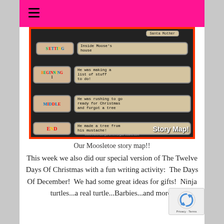[Figure (photo): A classroom story map bulletin board showing cards labeled SETTING (Inside Moose's house), BEGINNING 1 (He was making a list of stuff to do!), MIDDLE (He was rushing to go ready for Christmas and forgot a tree), END (He made a tree from his mustache!). The board has a Santa Mother note at top. White text overlay says 'Story Map!' with website watermark www.thekindergartensmorgas board.com]
Our Moosletoe story map!!
This week we also did our special version of The Twelve Days Of Christmas with a fun writing activity:  The Days Of December!  We had some great ideas for gifts!  Ninja turtles...a real turtle...Barbies...and more!